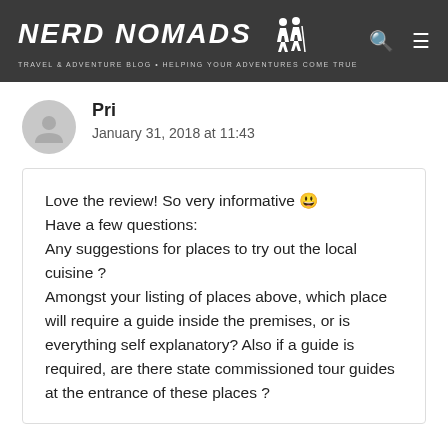NERD NOMADS — TRAVEL & ADVENTURE BLOG • HELPING YOUR ADVENTURES COME TRUE
Pri
January 31, 2018 at 11:43
Love the review! So very informative 😊 Have a few questions: Any suggestions for places to try out the local cuisine ? Amongst your listing of places above, which place will require a guide inside the premises, or is everything self explanatory? Also if a guide is required, are there state commissioned tour guides at the entrance of these places ?